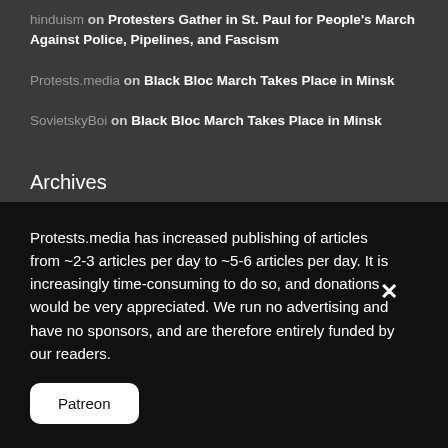hinduism on Protesters Gather in St. Paul for People's March Against Police, Pipelines, and Fascism
Protests.media on Black Bloc March Takes Place in Minsk
SovietskyBoi on Black Bloc March Takes Place in Minsk
Archives
Protests.media has increased publishing of articles from ~2-3 articles per day to ~5-6 articles per day. It is increasingly time-consuming to do so, and donations would be very appreciated. We run no advertising and have no sponsors, and are therefore entirely funded by our readers.
Patreon